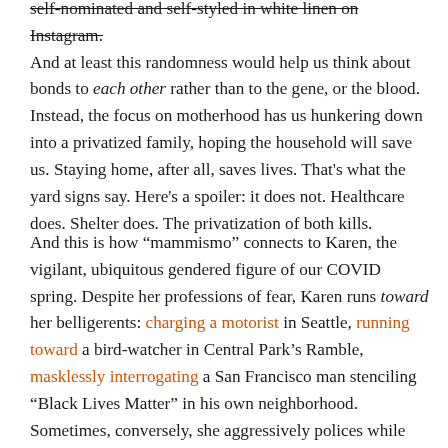self-nominated and self-styled in white linen on Instagram. And at least this randomness would help us think about bonds to each other rather than to the gene, or the blood. Instead, the focus on motherhood has us hunkering down into a privatized family, hoping the household will save us. Staying home, after all, saves lives. That's what the yard signs say. Here's a spoiler: it does not. Healthcare does. Shelter does. The privatization of both kills.
And this is how “mammismo” connects to Karen, the vigilant, ubiquitous gendered figure of our COVID spring. Despite her professions of fear, Karen runs toward her belligerents: charging a motorist in Seattle, running toward a bird-watcher in Central Park’s Ramble, masklessly interrogating a San Francisco man stenciling “Black Lives Matter” in his own neighborhood. Sometimes, conversely, she aggressively polices while staying at home, monitoring through NextDoor and Facebook. In either mode, she is a figure of protectionist